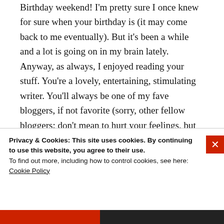Birthday weekend! I'm pretty sure I once knew for sure when your birthday is (it may come back to me eventually). But it's been a while and a lot is going on in my brain lately. Anyway, as always, I enjoyed reading your stuff. You're a lovely, entertaining, stimulating writer. You'll always be one of my fave bloggers, if not favorite (sorry, other fellow bloggers; don't mean to hurt your feelings, but Adele really does own a special piece of real estate in my heart as far as that goes). It's nice to know you had fun and what country trips are like. Me do man day dot it
Privacy & Cookies: This site uses cookies. By continuing to use this website, you agree to their use.
To find out more, including how to control cookies, see here:
Cookie Policy
Close and accept